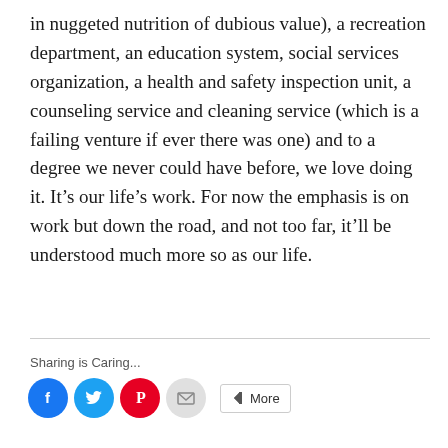in nuggeted nutrition of dubious value), a recreation department, an education system, social services organization, a health and safety inspection unit, a counseling service and cleaning service (which is a failing venture if ever there was one) and to a degree we never could have before, we love doing it. It’s our life’s work. For now the emphasis is on work but down the road, and not too far, it’ll be understood much more so as our life.
Sharing is Caring...